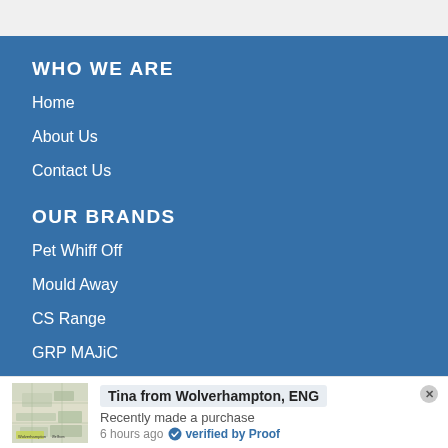WHO WE ARE
Home
About Us
Contact Us
OUR BRANDS
Pet Whiff Off
Mould Away
CS Range
GRP MAJiC
Tina from Wolverhampton, ENG
Recently made a purchase
6 hours ago  verified by Proof